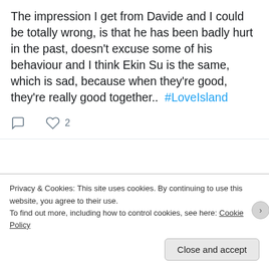The impression I get from Davide and I could be totally wrong, is that he has been badly hurt in the past, doesn't excuse some of his behaviour and I think Ekin Su is the same, which is sad, because when they're good, they're really good together.. #LoveIsland
[Figure (screenshot): Tweet action icons: reply and heart/like with count 2]
[Figure (screenshot): Twitter user avatar (black and white photo of woman with bangs), username 'Littlemis...', handle '@... · Apr 15', Twitter bird logo]
Privacy & Cookies: This site uses cookies. By continuing to use this website, you agree to their use.
To find out more, including how to control cookies, see here: Cookie Policy
Close and accept